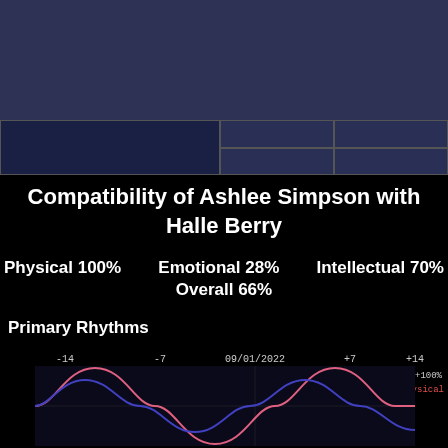Compatibility of Ashlee Simpson with Halle Berry
Physical 100%   Emotional 28%   Intellectual 70%
Overall 66%
Primary Rhythms
[Figure (continuous-plot): Biorhythm wave chart showing Physical (red/pink curve) and another cycle (blue curve) over a date range centered on 09/01/2022, with x-axis labels: -14, -7, 09/01/2022, +7, +14, and y-axis label +100% on the right. Two sinusoidal waves visible.]